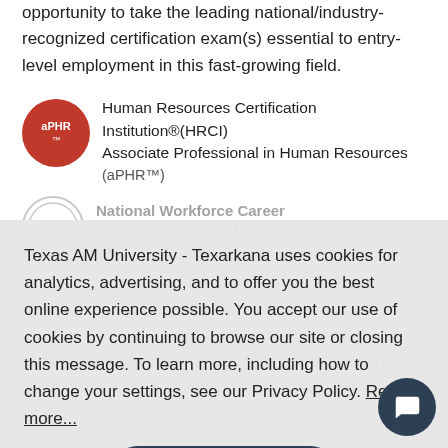opportunity to take the leading national/industry-recognized certification exam(s) essential to entry-level employment in this fast-growing field.
[Figure (logo): aPHR red circular logo with white text 'aPHR™']
Human Resources Certification Institution®(HRCI) Associate Professional in Human Resources (aPHR™)
[Figure (logo): NWCA circular logo]
National Workforce Career Association (NWCA) Human Resources (B-HR)
Texas AM University - Texarkana uses cookies for analytics, advertising, and to offer you the best online experience possible. You accept our use of cookies by continuing to browse our site or closing this message. To learn more, including how to change your settings, see our Privacy Policy. Read more...
Accept
Optional Volunteer Externship Opportunity
Learners who complete this program are eligible to participate in an optional volunteer externship oppo with a local company/agency/organization whose work